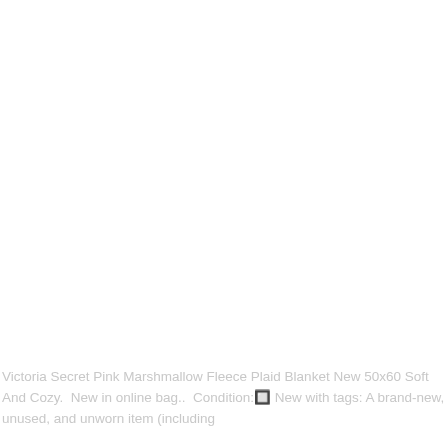Victoria Secret Pink Marshmallow Fleece Plaid Blanket New 50x60 Soft And Cozy.  New in online bag..  Condition:🔲 New with tags: A brand-new, unused, and unworn item (including